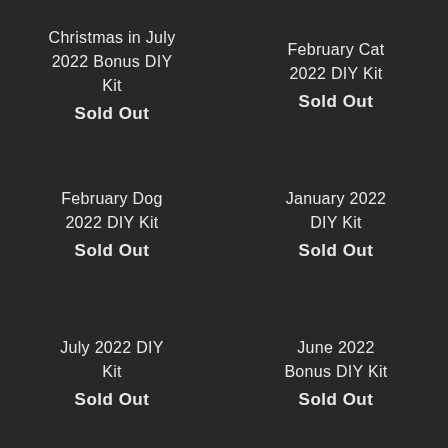Christmas in July 2022 Bonus DIY Kit
Sold Out
February Cat 2022 DIY Kit
Sold Out
February Dog 2022 DIY Kit
Sold Out
January 2022 DIY Kit
Sold Out
July 2022 DIY Kit
Sold Out
June 2022 Bonus DIY Kit
Sold Out